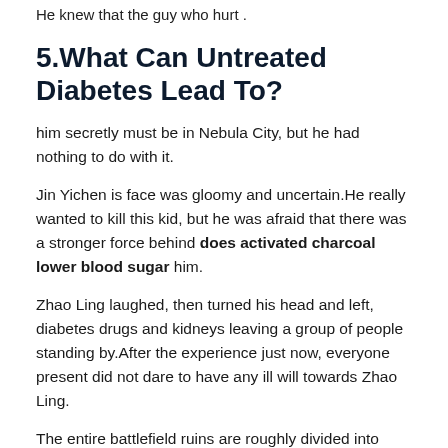He knew that the guy who hurt .
5.What Can Untreated Diabetes Lead To?
him secretly must be in Nebula City, but he had nothing to do with it.
Jin Yichen is face was gloomy and uncertain.He really wanted to kill this kid, but he was afraid that there was a stronger force behind does activated charcoal lower blood sugar him.
Zhao Ling laughed, then turned his head and left, diabetes drugs and kidneys leaving a group of people standing by.After the experience just now, everyone present did not dare to have any ill will towards Zhao Ling.
The entire battlefield ruins are roughly divided into three